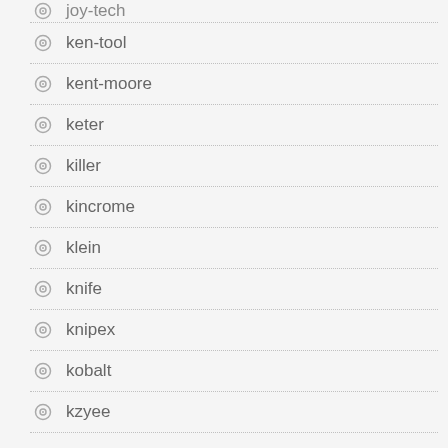joy-tech
ken-tool
kent-moore
keter
killer
kincrome
klein
knife
knipex
kobalt
kzyee